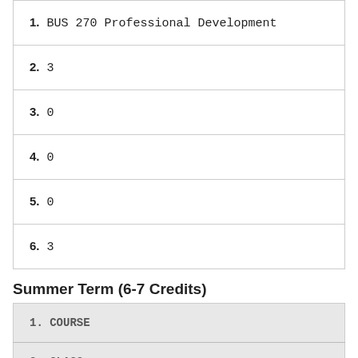1. BUS 270 Professional Development
2. 3
3. 0
4. 0
5. 0
6. 3
Summer Term (6-7 Credits)
1. COURSE
2. CLASS